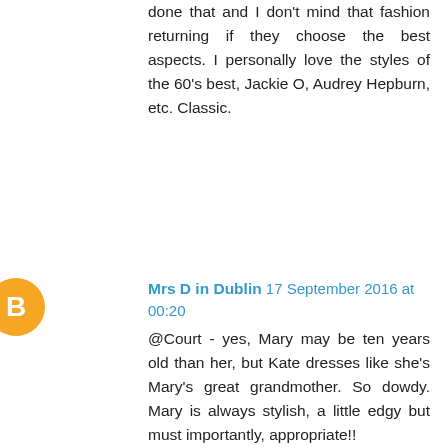done that and I don't mind that fashion returning if they choose the best aspects. I personally love the styles of the 60's best, Jackie O, Audrey Hepburn, etc. Classic.
Mrs D in Dublin  17 September 2016 at 00:20
@Court - yes, Mary may be ten years old than her, but Kate dresses like she's Mary's great grandmother. So dowdy. Mary is always stylish, a little edgy but must importantly, appropriate!!
royalfan  17 September 2016 at 00:35
Rebecca is correct, and don't most fashion trends make a comeback?

The fact that Kate dresses in jeans for a sports-related engagement and chooses a more conservative dress for a more formal engagement does not mean that she doesn't